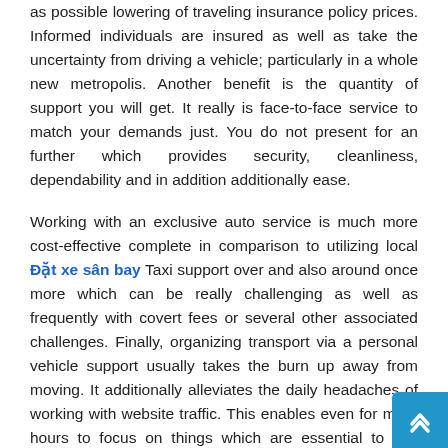as possible lowering of traveling insurance policy prices. Informed individuals are insured as well as take the uncertainty from driving a vehicle; particularly in a whole new metropolis. Another benefit is the quantity of support you will get. It really is face-to-face service to match your demands just. You do not present for an further which provides security, cleanliness, dependability and in addition additionally ease.
Working with an exclusive auto service is much more cost-effective complete in comparison to utilizing local Đặt xe sân bay Taxi support over and also around once more which can be really challenging as well as frequently with covert fees or several other associated challenges. Finally, organizing transport via a personal vehicle support usually takes the burn up away from moving. It additionally alleviates the daily headaches of working with website traffic. This enables even for more hours to focus on things which are essential to you regardless of whether that Monroe cab services related or